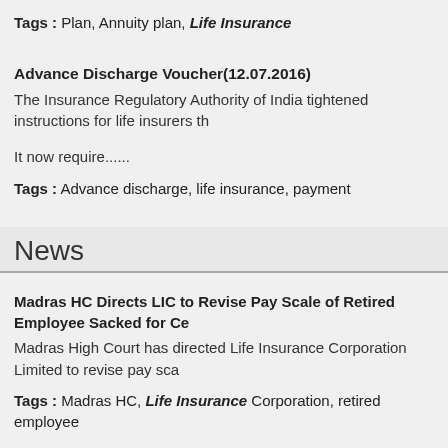Tags : Plan, Annuity plan, Life Insurance
Advance Discharge Voucher(12.07.2016)
The Insurance Regulatory Authority of India tightened instructions for life insurers th
It now require......
Tags : Advance discharge, life insurance, payment
News
Madras HC Directs LIC to Revise Pay Scale of Retired Employee Sacked for Ce
Madras High Court has directed Life Insurance Corporation Limited to revise pay sca
Tags : Madras HC, Life Insurance Corporation, retired employee
CCI Nods for Sun Life's Acquisition in BSLI(01.02.2016)